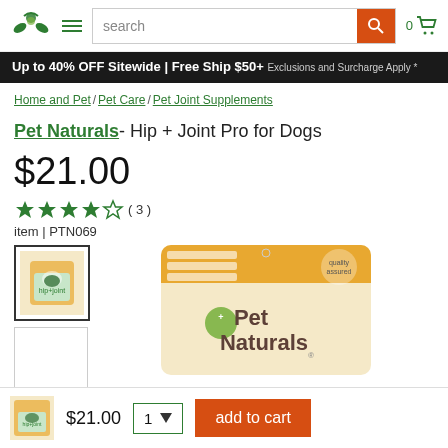[Figure (screenshot): E-commerce website header with logo, hamburger menu, search bar, and cart icon]
Up to 40% OFF Sitewide | Free Ship $50+ Exclusions and Surcharge Apply *
Home and Pet / Pet Care / Pet Joint Supplements
Pet Naturals- Hip + Joint Pro for Dogs
$21.00
( 3 )
item | PTN069
[Figure (photo): Pet Naturals Hip + Joint Pro for Dogs product package - thumbnail]
[Figure (photo): Pet Naturals Hip + Joint Pro for Dogs main product photo]
$21.00
1
add to cart